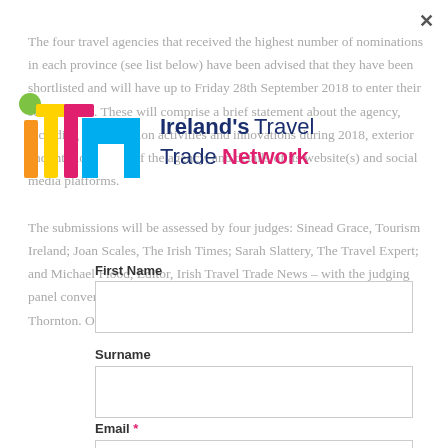The four travel agencies that received the highest number of nominations in each province (see list below) have been advised that they have been shortlisted and will have up to Friday 28th September 2018 to enter their submissions. These will comprise a brief statement about the agency, including its promotion activities and innovations during 2018, exterior and interior photos of the agency, and details of its website(s) and social media platforms.
[Figure (logo): Ireland's Travel Trade Network (ITTN) logo with colorful letter marks and text]
First Name
Surname
The submissions will be assessed by four judges: Sinead Grace, Tourism Ireland; Joan Scales, The Irish Times; Sarah Slattery, The Travel Expert; and Michael Flood, Editor, Irish Travel Trade News – with the judging panel convened by a non-voting Chairman, Stephen Murray, Grant Thornton. One agency will be
Email *